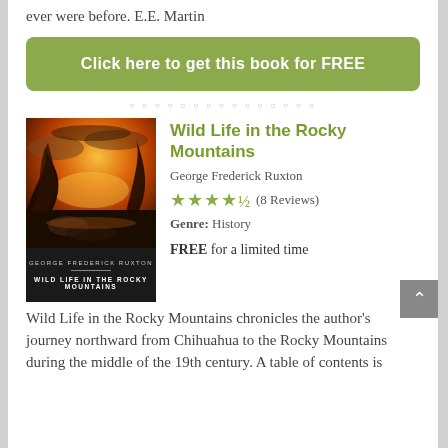ever were before. E.E. Martin
Click here to get this book for FREE
[Figure (other): Pagination dots row]
[Figure (photo): Book cover image for Wild Life in the Rocky Mountains by George Frederick Ruxton — dramatic sunset landscape with dark trees and glowing orange sky]
Wild Life in the Rocky Mountains
George Frederick Ruxton
★★★★½ (8 Reviews)
Genre: History
FREE for a limited time
Wild Life in the Rocky Mountains chronicles the author's journey northward from Chihuahua to the Rocky Mountains during the middle of the 19th century. A table of contents is